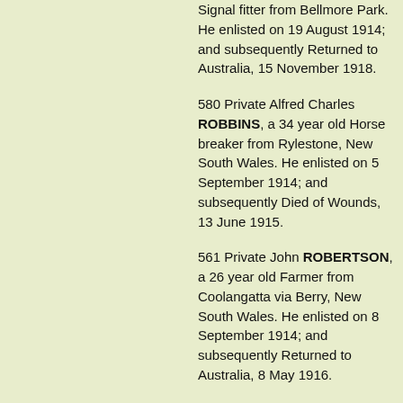Signal fitter from Bellmore Park. He enlisted on 19 August 1914; and subsequently Returned to Australia, 15 November 1918.
580 Private Alfred Charles ROBBINS, a 34 year old Horse breaker from Rylestone, New South Wales. He enlisted on 5 September 1914; and subsequently Died of Wounds, 13 June 1915.
561 Private John ROBERTSON, a 26 year old Farmer from Coolangatta via Berry, New South Wales. He enlisted on 8 September 1914; and subsequently Returned to Australia, 8 May 1916.
331 Bugler Manfred Lawrence ROGAN, a 21 year old Painter from Cooma, New South Wales. He enlisted on 23 August 1914; and subsequently Returned to Australia, 3 March 1916.
577 Private Rowan Chisholm ROSS...